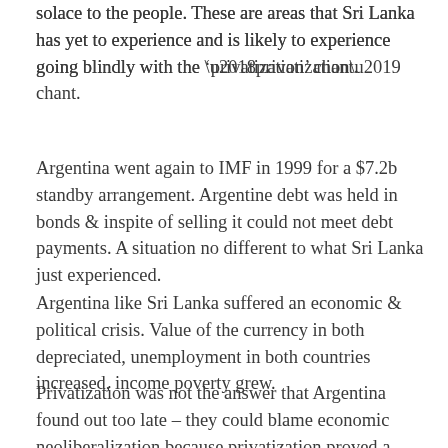solace to the people. These are areas that Sri Lanka has yet to experience and is likely to experience going blindly with the ‘privatization’ chant.
Argentina went again to IMF in 1999 for a $7.2b standby arrangement. Argentine debt was held in bonds & inspite of selling it could not meet debt payments. A situation no different to what Sri Lanka just experienced.
Argentina like Sri Lanka suffered an economic & political crisis. Value of the currency in both depreciated, unemployment in both countries increased, income poverty grew.
Privatization was not the answer that Argentina found out too late – they could blame economic neoliberalization because privatization proved a failure.